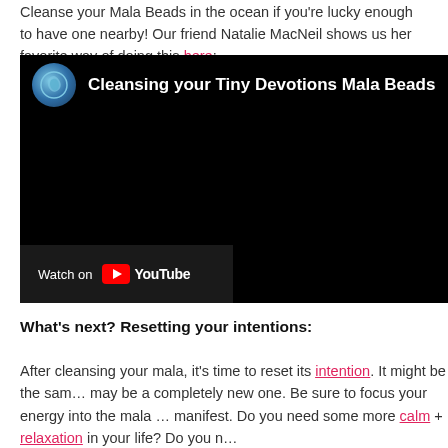Cleanse your Mala Beads in the ocean if you're lucky enough to have one nearby! Our friend Natalie MacNeil shows us her favorite way of doing this here:
[Figure (screenshot): YouTube video embed showing 'Cleansing your Tiny Devotions Mala Beads' with Tiny Devotions channel icon, black video area, and 'Watch on YouTube' bar at bottom left.]
What's next? Resetting your intentions:
After cleansing your mala, it's time to reset its intention. It might be the same intention or it may be a completely new one. Be sure to focus your energy into the mala and what you want to manifest. Do you need some more calm + relaxation in your life? Do you n…